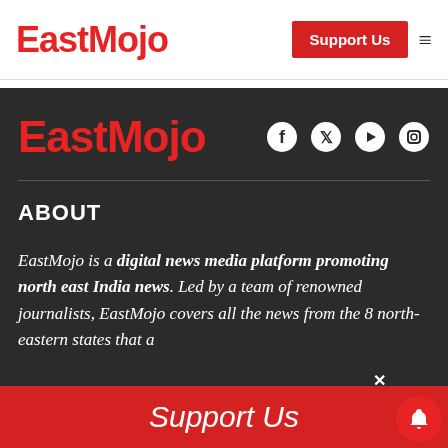EastMojo — Support Us
EastMojo
[Figure (logo): EastMojo red logo text in dark footer section with social media icons (Facebook, Twitter, YouTube, Instagram)]
ABOUT
EastMojo is a digital news media platform promoting north east India news. Led by a team of renowned journalists, EastMojo covers all the news from the 8 north-eastern states that a
Support Us